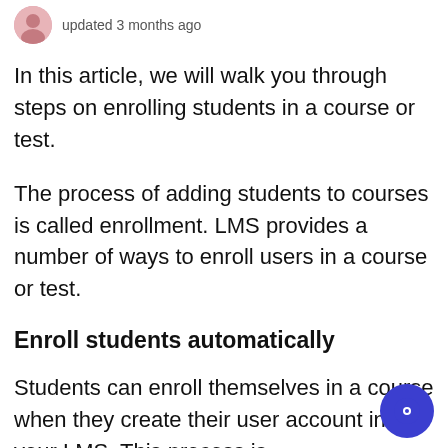updated 3 months ago
In this article, we will walk you through steps on enrolling students in a course or test.
The process of adding students to courses is called enrollment. LMS provides a number of ways to enroll users in a course or test.
Enroll students automatically
Students can enroll themselves in a course when they create their user account in your LMS. This process is